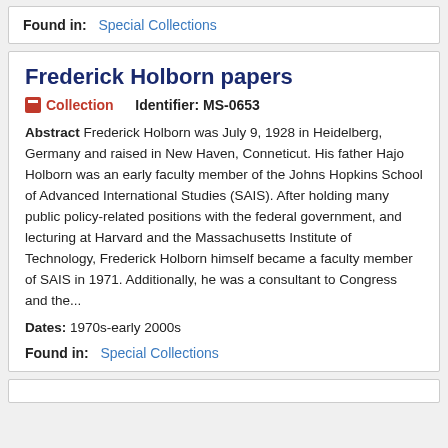Found in: Special Collections
Frederick Holborn papers
Collection   Identifier: MS-0653
Abstract Frederick Holborn was July 9, 1928 in Heidelberg, Germany and raised in New Haven, Conneticut. His father Hajo Holborn was an early faculty member of the Johns Hopkins School of Advanced International Studies (SAIS). After holding many public policy-related positions with the federal government, and lecturing at Harvard and the Massachusetts Institute of Technology, Frederick Holborn himself became a faculty member of SAIS in 1971. Additionally, he was a consultant to Congress and the...
Dates: 1970s-early 2000s
Found in: Special Collections